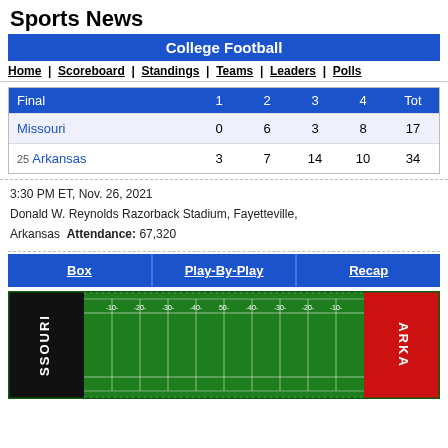Sports News
College Football
Home | Scoreboard | Standings | Teams | Leaders | Polls
| Final | 1 | 2 | 3 | 4 | Tot |
| --- | --- | --- | --- | --- | --- |
| Missouri | 0 | 6 | 3 | 8 | 17 |
| 25 Arkansas | 3 | 7 | 14 | 10 | 34 |
3:30 PM ET, Nov. 26, 2021
Donald W. Reynolds Razorback Stadium, Fayetteville,
Arkansas  Attendance: 67,320
Box | Play-By-Play | Recap
[Figure (illustration): Football field with Missouri black end zone on left and Arkansas red end zone on right, showing yard lines and field markings]